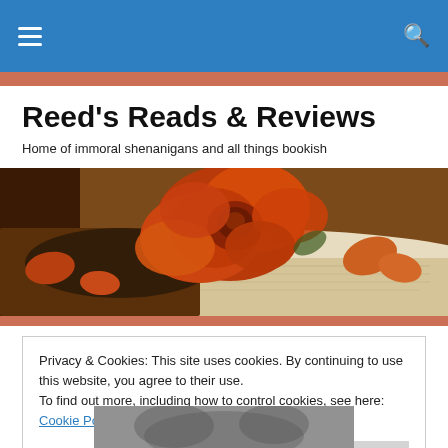Reed's Reads & Reviews — navigation bar with hamburger menu and search icon
Reed's Reads & Reviews
Home of immoral shenanigans and all things bookish
[Figure (photo): A dried orange/red rose lying on an open book with scattered petals, warm brown tones]
Privacy & Cookies: This site uses cookies. By continuing to use this website, you agree to their use.
To find out more, including how to control cookies, see here: Cookie Policy
Close and accept
[Figure (photo): Partial black and white image at bottom of page]